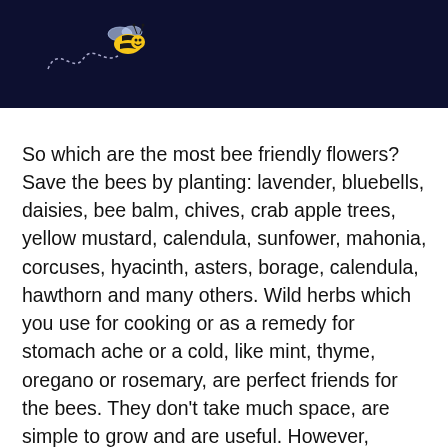[Figure (illustration): Dark navy header bar with a cartoon bee illustration on the left, showing a bee with a smiley face and a dotted flight path trail curving to the left]
So which are the most bee friendly flowers? Save the bees by planting: lavender, bluebells, daisies, bee balm, chives, crab apple trees, yellow mustard, calendula, sunfower, mahonia, corcuses, hyacinth, asters, borage, calendula, hawthorn and many others. Wild herbs which you use for cooking or as a remedy for stomach ache or a cold, like mint, thyme, oregano or rosemary, are perfect friends for the bees. They don't take much space, are simple to grow and are useful. However, remember that they 🇬🇧🇵🇱 be useful for the bees only, when you let them bloom.